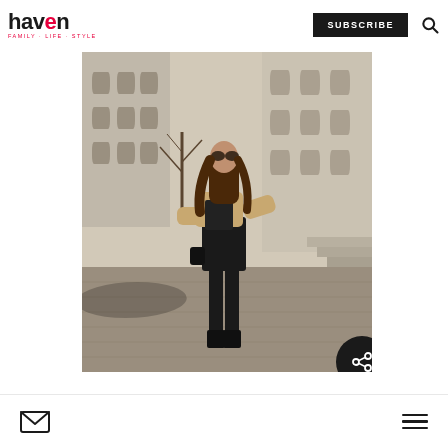haven FAMILY · LIFE · STYLE | SUBSCRIBE
[Figure (photo): Fashion photo of a young woman with long brown hair and sunglasses, wearing a black mini dress/dungarees, beige cardigan/jacket, black tights and boots, standing in a European cobblestone plaza with historic buildings in the background.]
Mail icon | Hamburger menu icon